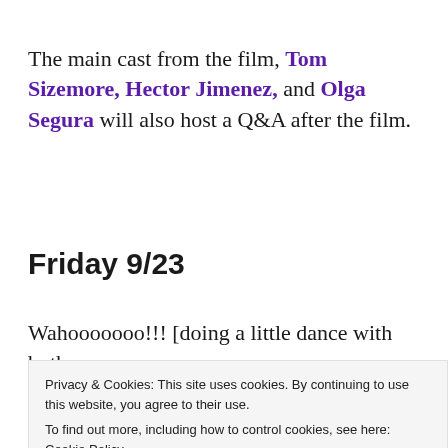The main cast from the film, Tom Sizemore, Hector Jimenez, and Olga Segura will also host a Q&A after the film.
Friday 9/23
Wahooooooo!!! [doing a little dance with both
Privacy & Cookies: This site uses cookies. By continuing to use this website, you agree to their use.
To find out more, including how to control cookies, see here: Cookie Policy
[Figure (photo): Partial photo strip at the bottom of the page, showing a person.]